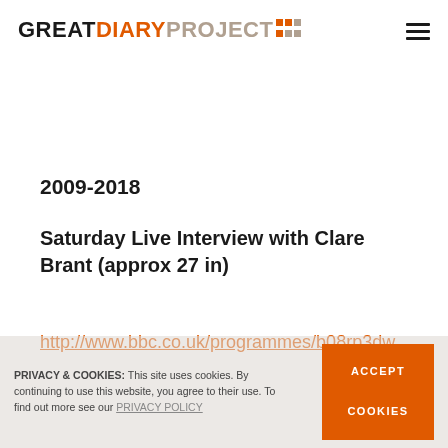GREAT DIARY PROJECT [logo with dots]
2009-2018
Saturday Live Interview with Clare Brant (approx 27 in)
http://www.bbc.co.uk/programmes/b08rp3dw
PRIVACY & COOKIES: This site uses cookies. By continuing to use this website, you agree to their use. To find out more see our PRIVACY POLICY
ACCEPT COOKIES